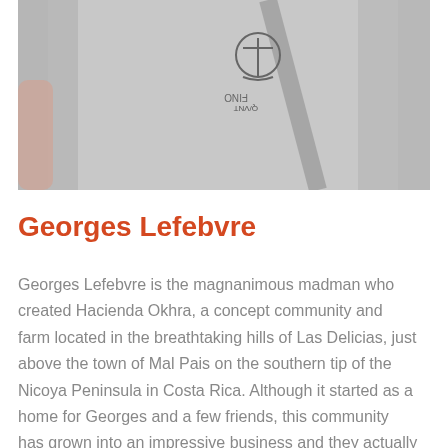[Figure (photo): A person wearing a gray hoodie or sweatshirt with an anchor logo and text, seen from the chest up. A seatbelt is visible across the chest.]
Georges Lefebvre
Georges Lefebvre is the magnanimous madman who created Hacienda Okhra, a concept community and farm located in the breathtaking hills of Las Delicias, just above the town of Mal Pais on the southern tip of the Nicoya Peninsula in Costa Rica. Although it started as a home for Georges and a few friends, this community has grown into an impressive business and they actually supply food for